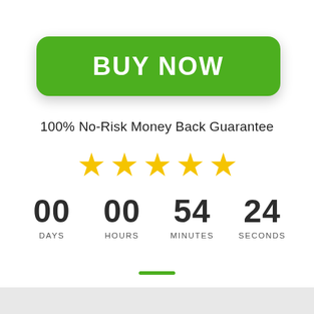[Figure (other): Green rounded 'BUY NOW' button with white bold text and drop shadow]
100% No-Risk Money Back Guarantee
[Figure (other): Five gold star rating icons in a row]
00 DAYS   00 HOURS   54 MINUTES   24 SECONDS
[Figure (other): Short green horizontal line separator]